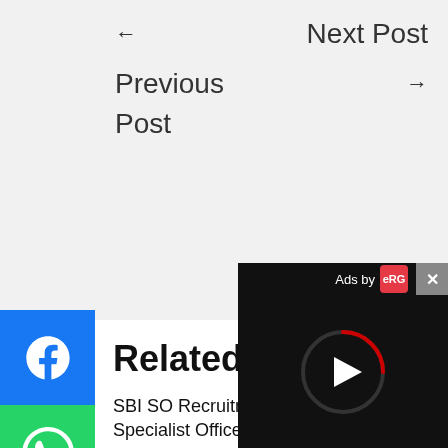← Next Post
Previous Post →
[Figure (logo): Facebook share button (blue)]
[Figure (logo): WhatsApp share button (green)]
[Figure (logo): Twitter share button (blue)]
[Figure (logo): Pinterest share button (red)]
Related Posts
SBI SO Recruitment 2022: N Specialist Officer Jobs in Sta Eligibility..
[Figure (screenshot): Ad overlay video player with X close button, Ads by logo, and play button on dark background]